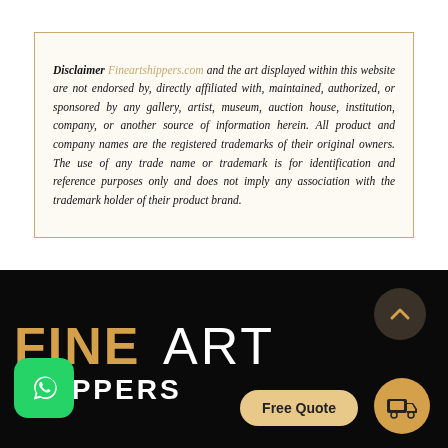Disclaimer Fineartshippers.com and the art displayed within this website are not endorsed by, directly affiliated with, maintained, authorized, or sponsored by any gallery, artist, museum, auction house, institution, company, or another source of information herein. All product and company names are the registered trademarks of their original owners. The use of any trade name or trademark is for identification and reference purposes only and does not imply any association with the trademark holder of their product brand.
[Figure (logo): Fine Art Shippers logo on dark background with WhatsApp icon, Free Quote button, delivery icon, and back-to-top chevron button]